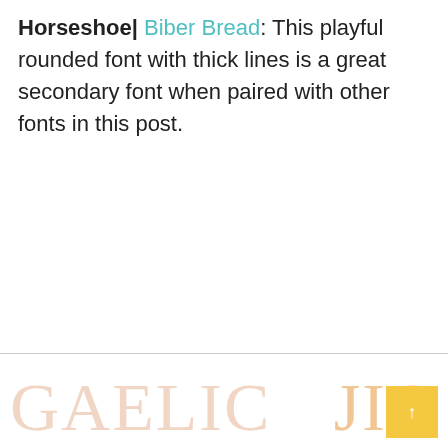Horseshoe| Biber Bread: This playful rounded font with thick lines is a great secondary font when paired with other fonts in this post.
[Figure (other): Bottom decorative section with large light-colored watermark-style text reading 'GAELIC' on the left and 'JIG' on the right, with a yellow/orange square button in the bottom-right corner.]